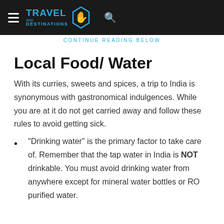Travel and Destinations
CONTINUE READING BELOW
Local Food/ Water
With its curries, sweets and spices, a trip to India is synonymous with gastronomical indulgences. While you are at it do not get carried away and follow these rules to avoid getting sick.
“Drinking water” is the primary factor to take care of. Remember that the tap water in India is NOT drinkable. You must avoid drinking water from anywhere except for mineral water bottles or RO purified water.